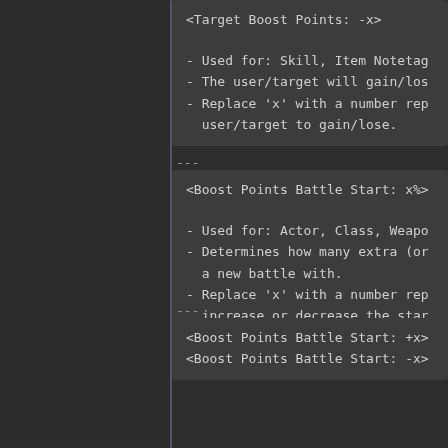<Target Boost Points: -x>
- Used for: Skill, Item Notetag
- The user/target will gain/los
- Replace 'x' with a number rep
  user/target to gain/lose.
---
<Boost Points Battle Start: x%>
- Used for: Actor, Class, Weapo
- Determines how many extra (or
  a new battle with.
- Replace 'x' with a number rep
  increase or decrease the star
---
<Boost Points Battle Start: +x>
<Boost Points Battle Start: -x>